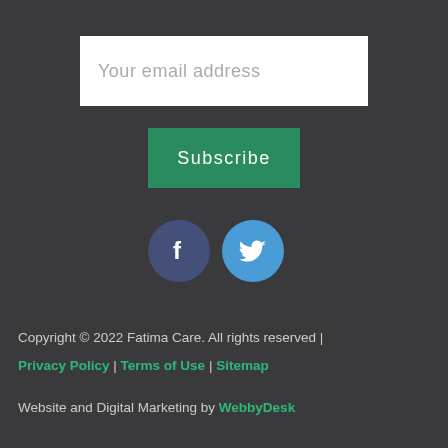[Figure (screenshot): Email address input field with placeholder text 'Your email address' on white background]
[Figure (screenshot): Green 'Subscribe' button]
[Figure (other): Social media icons: Facebook (dark blue circle with 'f') and Twitter (light blue circle with bird icon)]
Copyright © 2022 Fatima Care. All rights reserved |
Privacy Policy | Terms of Use | Sitemap
Website and Digital Marketing by WebbyDesk